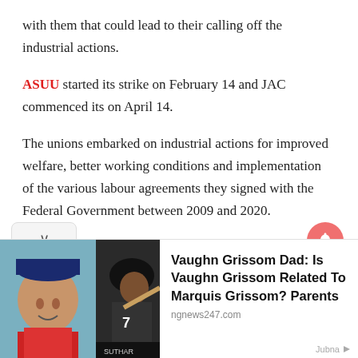with them that could lead to their calling off the industrial actions.
ASUU started its strike on February 14 and JAC commenced its on April 14.
The unions embarked on industrial actions for improved welfare, better working conditions and implementation of the various labour agreements they signed with the Federal Government between 2009 and 2020.
[Figure (photo): Advertisement banner showing two baseball players and a headline: Vaughn Grissom Dad: Is Vaughn Grissom Related To Marquis Grissom? Parents, sourced from ngnews247.com]